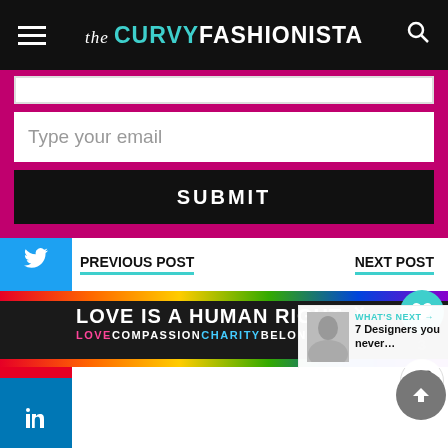the CURVY FASHIONISTA
[Figure (screenshot): Email subscription form with 'Type your email' input and 'SUBMIT' button on magenta/pink background]
PREVIOUS POST
NEXT POST
LEAVE A COMMENT
Your email address will not be published. Required fields are marked *
[Figure (infographic): Advertisement banner: LOVE IS A HUMAN RIGHT with rainbow stripe, LOVE COMPASSION CHARITY BELONGING subtext]